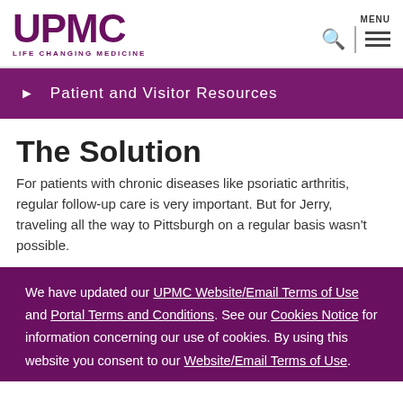UPMC LIFE CHANGING MEDICINE
Patient and Visitor Resources
The Solution
For patients with chronic diseases like psoriatic arthritis, regular follow-up care is very important. But for Jerry, traveling all the way to Pittsburgh on a regular basis wasn't possible.
We have updated our UPMC Website/Email Terms of Use and Portal Terms and Conditions. See our Cookies Notice for information concerning our use of cookies. By using this website you consent to our Website/Email Terms of Use.